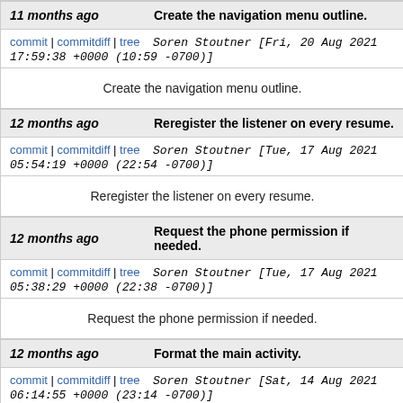11 months ago   Create the navigation menu outline.
commit | commitdiff | tree   Soren Stoutner [Fri, 20 Aug 2021 17:59:38 +0000 (10:59 -0700)]
Create the navigation menu outline.
12 months ago   Reregister the listener on every resume.
commit | commitdiff | tree   Soren Stoutner [Tue, 17 Aug 2021 05:54:19 +0000 (22:54 -0700)]
Reregister the listener on every resume.
12 months ago   Request the phone permission if needed.
commit | commitdiff | tree   Soren Stoutner [Tue, 17 Aug 2021 05:38:29 +0000 (22:38 -0700)]
Request the phone permission if needed.
12 months ago   Format the main activity.
commit | commitdiff | tree   Soren Stoutner [Sat, 14 Aug 2021 06:14:55 +0000 (23:14 -0700)]
Format the main activity.